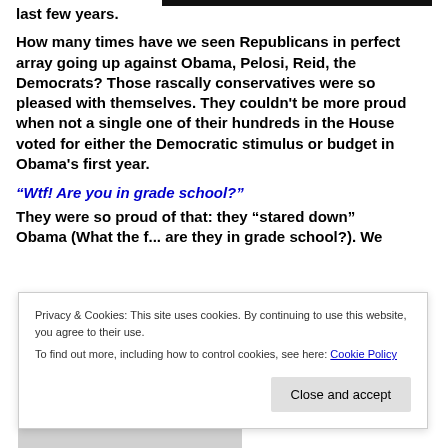last few years.
How many times have we seen Republicans in perfect array going up against Obama, Pelosi, Reid, the Democrats? Those rascally conservatives were so pleased with themselves. They couldn't be more proud when not a single one of their hundreds in the House voted for either the Democratic stimulus or budget in Obama's first year.
“Wtf! Are you in grade school?”
They were so proud of that: they “stared down” Obama (What the f... are they in grade school?). We
Privacy & Cookies: This site uses cookies. By continuing to use this website, you agree to their use.
To find out more, including how to control cookies, see here: Cookie Policy